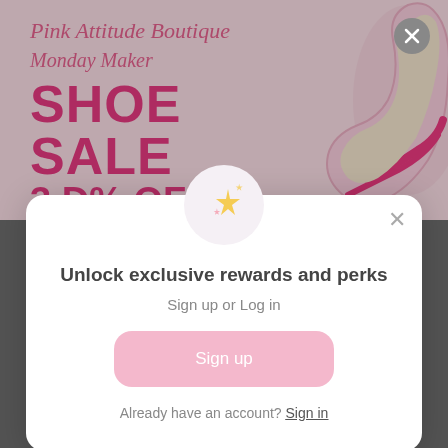[Figure (screenshot): Pink Attitude Boutique Monday Maker Shoe Sale promotional banner with pink background and hot pink high-heel shoe image on the right]
Unlock exclusive rewards and perks
Sign up or Log in
Sign up
Already have an account? Sign in